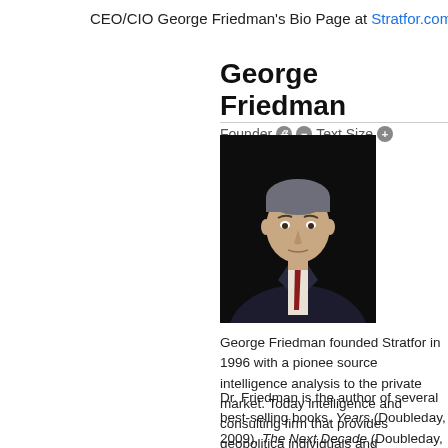CEO/CIO George Friedman's Bio Page at Stratfor.com:
George Friedman
Founder 🖨 ⊖ Text Size ⊕
[Figure (photo): Professional headshot of George Friedman, a man in a dark suit with a red tie, against a dark background]
George Friedman founded Stratfor in 1996 with a pioneer source intelligence analysis to the private market. Today intelligence and consulting firm that provides geopolitica individuals and organizations around the world.
Dr. Friedman is the author of several best-selling books, Years (Doubleday, 2009), The Next Decade (Doubleday, War (Doubleday, 2004), The Future of War (St. Martin's Intelligence Edge (Crown, 1997). His latest book, Flashp in Europe (Doubleday, 2015) was published in January 2